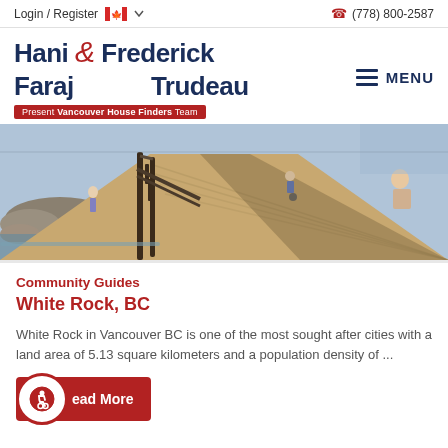Login / Register   (778) 800-2587
[Figure (logo): Hani & Frederick Faraj & Trudeau — Present Vancouver House Finders Team logo with red ampersand and red banner subtitle]
[Figure (photo): Outdoor boardwalk scene at White Rock, BC, with people walking, sitting, and a stroller visible. Rocky beach on the left side.]
Community Guides
White Rock, BC
White Rock in Vancouver BC is one of the most sought after cities with a land area of 5.13 square kilometers and a population density of ...